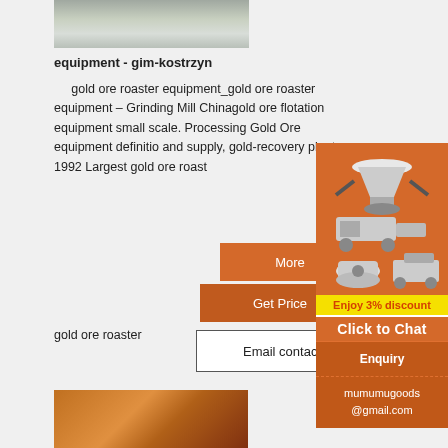[Figure (photo): Pile of crushed rock/ore aggregate, top portion visible]
equipment - gim-kostrzyn
gold ore roaster equipment_gold ore roaster equipment – Grinding Mill Chinagold ore flotation equipment small scale. Processing Gold Ore equipment definition and supply, gold-recovery plant. 1992 Largest gold ore roast
More
Get Price
gold ore roaster
Email contact
[Figure (photo): Orange industrial mining/crushing equipment with conveyor belt]
[Figure (illustration): Right sidebar: Mining equipment advertisement with crusher and mill machines, orange background]
Enjoy 3% discount
Click to Chat
Enquiry
mumumugoods@gmail.com